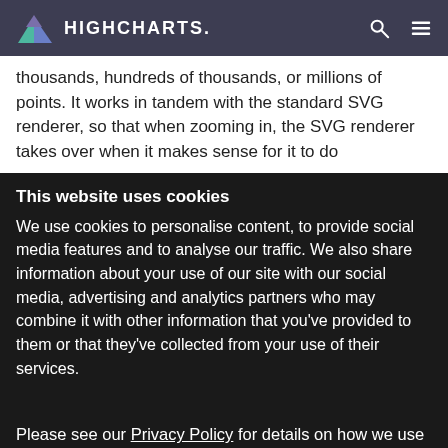HIGHCHARTS
thousands, hundreds of thousands, or millions of points. It works in tandem with the standard SVG renderer, so that when zooming in, the SVG renderer takes over when it makes sense for it to do
This website uses cookies
We use cookies to personalise content, to provide social media features and to analyse our traffic. We also share information about your use of our site with our social media, advertising and analytics partners who may combine it with other information that you've provided to them or that they've collected from your use of their services.
Please see our Privacy Policy for details on how we use cookies, and why.